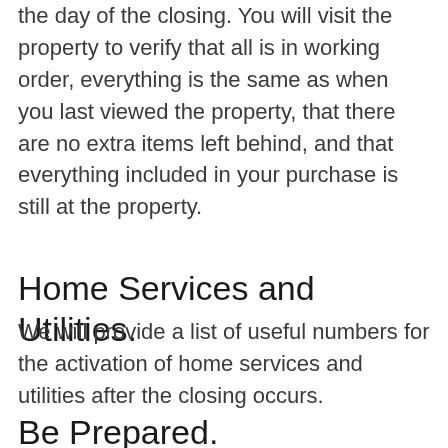the day of the closing. You will visit the property to verify that all is in working order, everything is the same as when you last viewed the property, that there are no extra items left behind, and that everything included in your purchase is still at the property.
Home Services and Utilities.
We will provide a list of useful numbers for the activation of home services and utilities after the closing occurs.
Be Prepared.